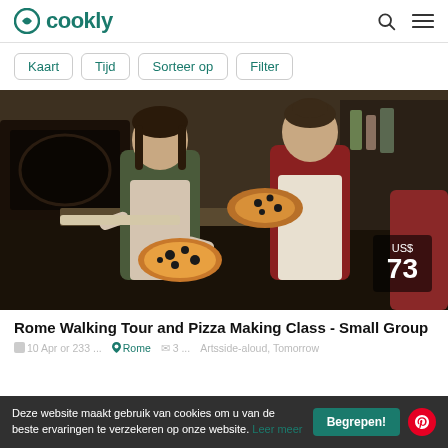cookly
Kaart
Tijd
Sorteer op
Filter
[Figure (photo): Two women in aprons holding pizzas in a kitchen with a wood-fired oven. Price badge shows US$ 73.]
Rome Walking Tour and Pizza Making Class - Small Group
Deze website maakt gebruik van cookies om u van de beste ervaringen te verzekeren op onze website. Leer meer
Begrepen!